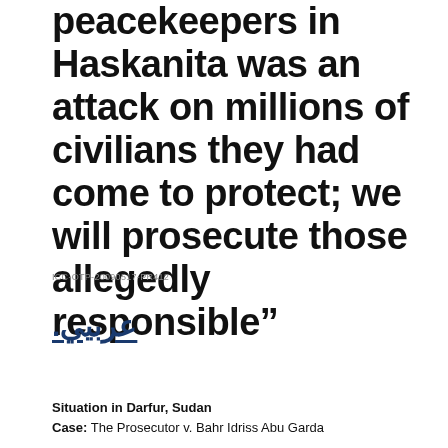peacekeepers in Haskanita was an attack on millions of civilians they had come to protect; we will prosecute those allegedly responsible”
ICC-OTP-20090517-PR412
عربيي.
Situation in Darfur, Sudan
Case: The Prosecutor v. Bahr Idriss Abu Garda